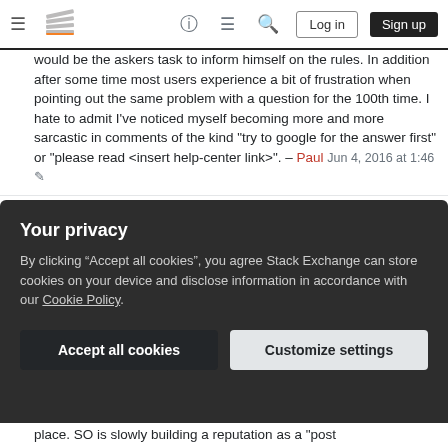Stack Exchange navigation bar with hamburger menu, logo, help, chat, search icons, Log in and Sign up buttons
would be the askers task to inform himself on the rules. In addition after some time most users experience a bit of frustration when pointing out the same problem with a question for the 100th time. I hate to admit I've noticed myself becoming more and more sarcastic in comments of the kind "try to google for the answer first" or "please read <insert help-center link>". – Paul Jun 4, 2016 at 1:46
"How is your IT homework going?", "Fine - there were a couple more SO nag screens to click through than last week, but I could still post my homework copy. If some mark has not answered it by Wednesday, I'll maybe look at it myself. Bar's open - wanna beer?".
Your privacy
By clicking “Accept all cookies”, you agree Stack Exchange can store cookies on your device and disclose information in accordance with our Cookie Policy.
place. SO is slowly building a reputation as a "post